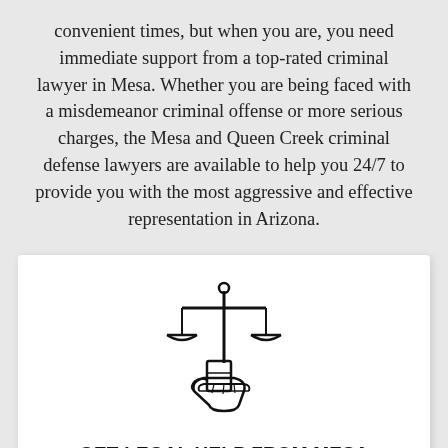convenient times, but when you are, you need immediate support from a top-rated criminal lawyer in Mesa. Whether you are being faced with a misdemeanor criminal offense or more serious charges, the Mesa and Queen Creek criminal defense lawyers are available to help you 24/7 to provide you with the most aggressive and effective representation in Arizona.
[Figure (illustration): Line drawing icon of a hand holding a balance scale (scales of justice)]
GET LEGAL HELP FROM MESA CRIMINAL DEFENSE LAWYERS
When you need help from top-rated criminal defense lawyers in Scottsdale and Mesa, our team offers high quality defense for clients who